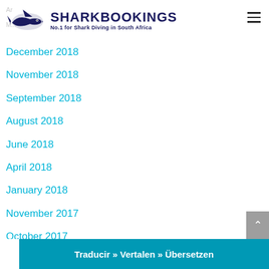SharkBookings - No.1 for Shark Diving in South Africa
December 2018
November 2018
September 2018
August 2018
June 2018
April 2018
January 2018
November 2017
October 2017
September 2017
August 2017
Traducir » Vertalen » Übersetzen